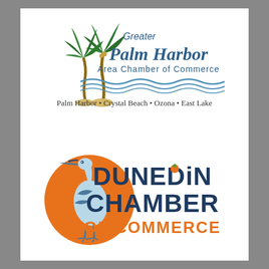[Figure (logo): Greater Palm Harbor Area Chamber of Commerce logo with palm trees and water waves. Tagline: Palm Harbor • Crystal Beach • Ozona • East Lake]
[Figure (logo): Dunedin Chamber of Commerce logo with an orange circle, blue heron bird, and text DUNEDIN CHAMBER OF COMMERCE]